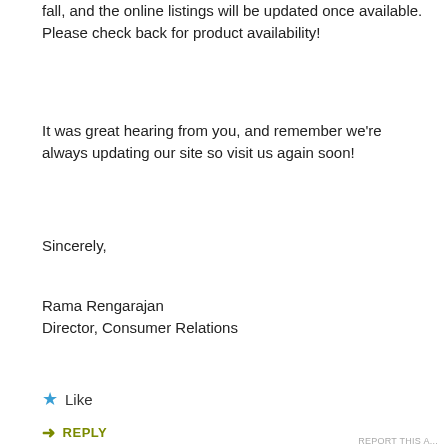fall, and the online listings will be updated once available. Please check back for product availability!
It was great hearing from you, and remember we're always updating our site so visit us again soon!
Sincerely,
Rama Rengarajan
Director, Consumer Relations
★ Like
➥ REPLY
[Figure (screenshot): Advertisement banner with beauty product images and ULTA logo with SHOP NOW text]